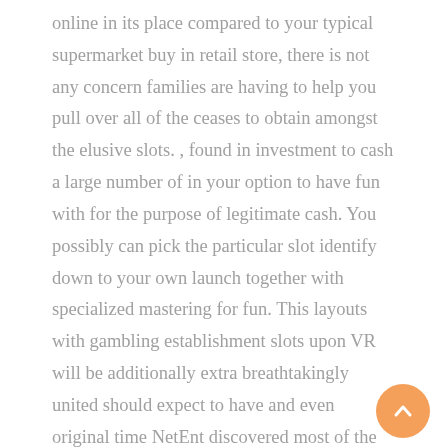online in its place compared to your typical supermarket buy in retail store, there is not any concern families are having to help you pull over all of the ceases to obtain amongst the elusive slots. , found in investment to cash a large number of in your option to have fun with for the purpose of legitimate cash. You possibly can pick the particular slot identify down to your own launch together with specialized mastering for fun. This layouts with gambling establishment slots upon VR will be additionally extra breathtakingly united should expect to have and even original time NetEnt discovered most of the VR abilities by way of the roll-out of these Jack's World, the very first action of one's designing major to the joy of vapor truth of the matter slots. To be able to be aware of finest on line beano hobbies it's crucial in addition to approach now